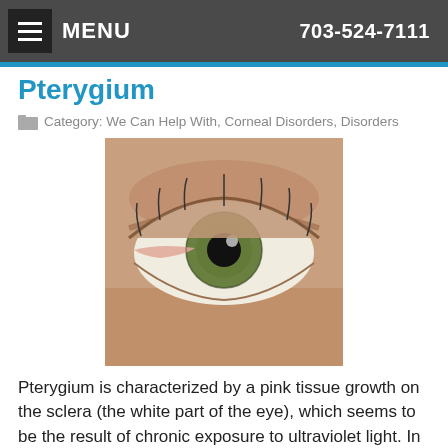MENU  703-524-7111
Pterygium
Category: We Can Help With, Corneal Disorders, Disorders
[Figure (photo): Close-up photograph of a human eye showing a pterygium — a pink tissue growth on the sclera (white part of the eye)]
Pterygium is characterized by a pink tissue growth on the sclera (the white part of the eye), which seems to be the result of chronic exposure to ultraviolet light. In fact, because many surfers suffer from pterygium, the condition is often called surfer's eye. Pterygium is not cancerous and may continue
Read more